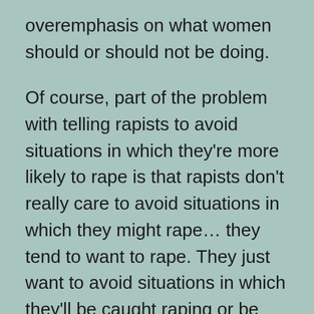overemphasis on what women should or should not be doing.
Of course, part of the problem with telling rapists to avoid situations in which they're more likely to rape is that rapists don't really care to avoid situations in which they might rape… they tend to want to rape. They just want to avoid situations in which they'll be caught raping or be easily convicted of raping.
You're absolutely right, though. Women know the risks, so I don't know why people waste their time saying "You should be doing this" or